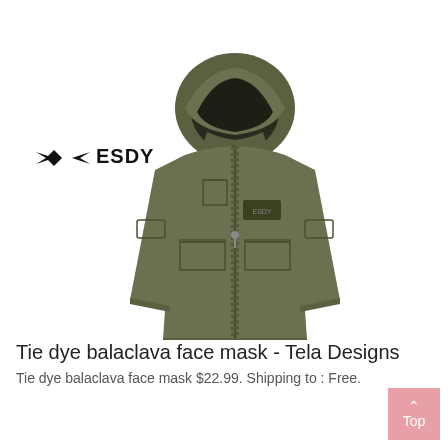[Figure (photo): Product photo of an olive/army green tactical softshell jacket with hood (hood is up and shows dark interior lining), with an ESDY brand logo in the upper left of the image area. The jacket has multiple pockets, zippers, and a brand patch on the chest.]
Tie dye balaclava face mask - Tela Designs
Tie dye balaclava face mask $22.99. Shipping to : Free.